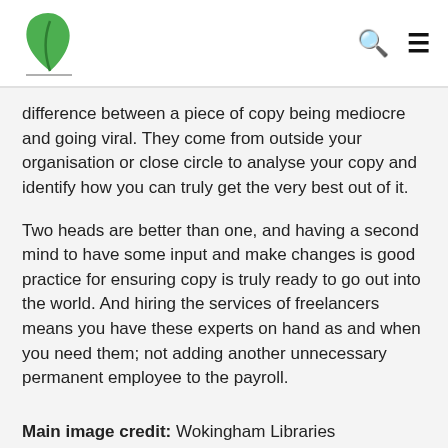[Logo] [Search icon] [Menu icon]
difference between a piece of copy being mediocre and going viral. They come from outside your organisation or close circle to analyse your copy and identify how you can truly get the very best out of it.
Two heads are better than one, and having a second mind to have some input and make changes is good practice for ensuring copy is truly ready to go out into the world. And hiring the services of freelancers means you have these experts on hand as and when you need them; not adding another unnecessary permanent employee to the payroll.
Main image credit: Wokingham Libraries